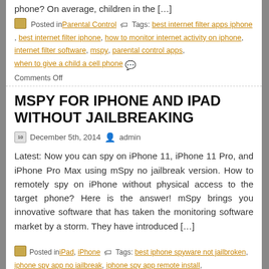phone? On average, children in the […]
Posted in Parental Control  Tags: best internet filter apps iphone, best internet filter iphone, how to monitor internet activity on iphone, internet filter software, mspy, parental control apps, when to give a child a cell phone  Comments Off
MSPY FOR IPHONE AND IPAD WITHOUT JAILBREAKING
December 5th, 2014  admin
Latest: Now you can spy on iPhone 11, iPhone 11 Pro, and iPhone Pro Max using mSpy no jailbreak version. How to remotely spy on iPhone without physical access to the target phone? Here is the answer! mSpy brings you innovative software that has taken the monitoring software market by a storm. They have introduced […]
Posted in iPad, iPhone  Tags: best iphone spyware not jailbroken, iphone spy app no jailbreak, iphone spy app remote install, iphone spy app without jailbreaking, iphone spy software without jailbreaking, mspy, mspy login, mspy no jailbreak, mspy no jailbreak review, mspy no jailbreak solution, mspy software without jailbreak, mspy without jailbreak review, spy on iphone 6 without jailbreak, spy on iphone without installing software, spyware for iphone without jailbreaking